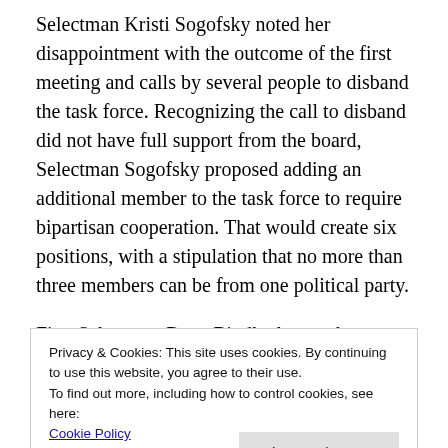Selectman Kristi Sogofsky noted her disappointment with the outcome of the first meeting and calls by several people to disband the task force. Recognizing the call to disband did not have full support from the board, Selectman Sogofsky proposed adding an additional member to the task force to require bipartisan cooperation. That would create six positions, with a stipulation that no more than three members can be from one political party.
First Selectman Dave Bindleglass and Selectman Bob Lossler agreed with the proposal and the motion
Privacy & Cookies: This site uses cookies. By continuing to use this website, you agree to their use. To find out more, including how to control cookies, see here: Cookie Policy
Appointed Commi...
The Board of Selectman considered two candidates to